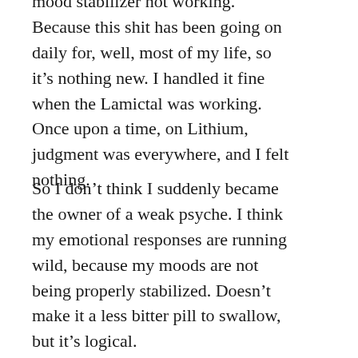mood stabilizer not working. Because this shit has been going on daily for, well, most of my life, so it's nothing new. I handled it fine when the Lamictal was working. Once upon a time, on Lithium, judgment was everywhere, and I felt nothing.
So I don't think I suddenly became the owner of a weak psyche. I think my emotional responses are running wild, because my moods are not being properly stabilized. Doesn't make it a less bitter pill to swallow, but it's logical.
Day was uneventful. I was fairly quiet. Did shit in robot mode. I am really hoping his intern shows up...